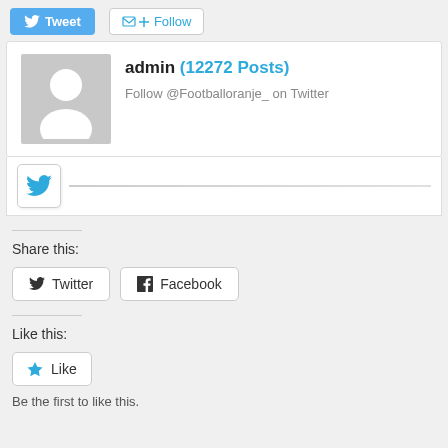[Figure (screenshot): Tweet button and Follow button in the top bar]
[Figure (screenshot): Author card showing admin avatar placeholder, name 'admin (12272 Posts)', and follow text 'Follow @Footballoranje_ on Twitter']
[Figure (screenshot): Twitter widget icon box with blue Twitter bird icon]
Share this:
[Figure (screenshot): Twitter and Facebook share buttons]
Like this:
[Figure (screenshot): Like button with blue star icon]
Be the first to like this.